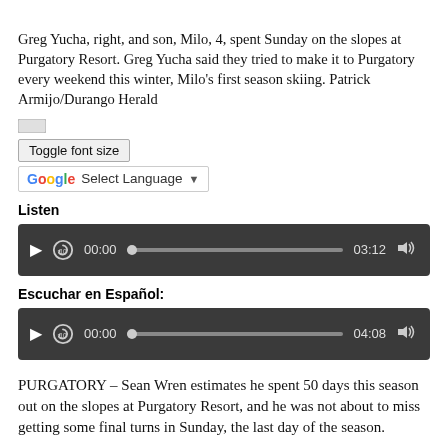Greg Yucha, right, and son, Milo, 4, spent Sunday on the slopes at Purgatory Resort. Greg Yucha said they tried to make it to Purgatory every weekend this winter, Milo’s first season skiing. Patrick Armijo/Durango Herald
[Figure (screenshot): Toggle font size button and Google Translate Select Language dropdown]
Listen
[Figure (screenshot): Audio player showing 00:00 current time and 03:12 total duration with play, replay, progress bar, and volume controls on dark background]
Escuchar en Español:
[Figure (screenshot): Audio player showing 00:00 current time and 04:08 total duration with play, replay, progress bar, and volume controls on dark background]
PURGATORY – Sean Wren estimates he spent 50 days this season out on the slopes at Purgatory Resort, and he was not about to miss getting some final turns in Sunday, the last day of the season.
“The sun’s shining. I figured why not. I can send some photos to